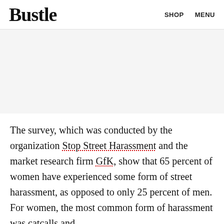Bustle   SHOP   MENU
[Figure (other): Advertisement placeholder area (gray background)]
The survey, which was conducted by the organization Stop Street Harassment and the market research firm GfK, show that 65 percent of women have experienced some form of street harassment, as opposed to only 25 percent of men. For women, the most common form of harassment was catcalls and